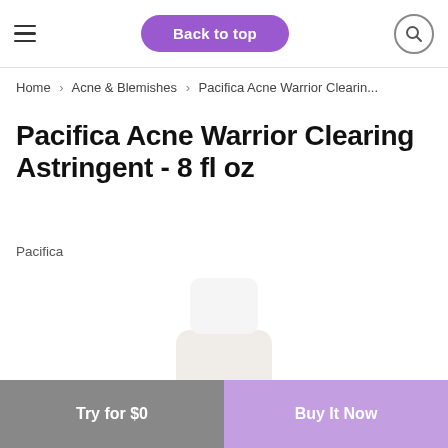Back to top
Home > Acne & Blemishes > Pacifica Acne Warrior Clearin...
Pacifica Acne Warrior Clearing Astringent - 8 fl oz
Pacifica
[Figure (photo): White bottle of Pacifica Acne Warrior Clearing Astringent with white cap, showing the front label with gold Pacifica branding and ACNE WARRIOR CLEARING ASTRINGENT text]
Try for $0   Buy It Now